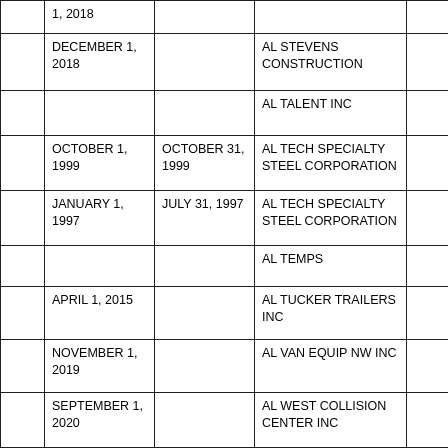|  | Start Date | End Date | Company Name |  |
| --- | --- | --- | --- | --- |
|  | 1, 2018 (partial) |  |  |  |
|  | DECEMBER 1, 2018 |  | AL STEVENS CONSTRUCTION |  |
|  |  |  | AL TALENT INC |  |
|  | OCTOBER 1, 1999 | OCTOBER 31, 1999 | AL TECH SPECIALTY STEEL CORPORATION |  |
|  | JANUARY 1, 1997 | JULY 31, 1997 | AL TECH SPECIALTY STEEL CORPORATION |  |
|  |  |  | AL TEMPS |  |
|  | APRIL 1, 2015 |  | AL TUCKER TRAILERS INC |  |
|  | NOVEMBER 1, 2019 |  | AL VAN EQUIP NW INC |  |
|  | SEPTEMBER 1, 2020 |  | AL WEST COLLISION CENTER INC |  |
|  | APRIL 1, 2019 |  | AL WEST NISSAN INC |  |
|  |  |  | AL&M BUILDING SUPPLY (partial) |  |